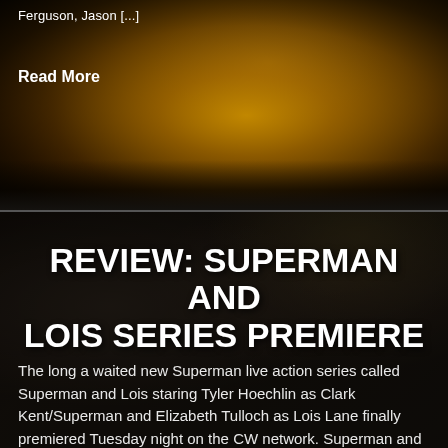Ferguson, Jason [...]
Read More
[Figure (photo): Dark cinematic background with golden eye-like orb, top section of webpage]
[Figure (photo): Superman and Lois promotional image with two actors on dark background]
REVIEW: SUPERMAN AND LOIS SERIES PREMIERE
The long a waited new Superman live action series called Superman and Lois staring Tyler Hoechlin as Clark Kent/Superman and Elizabeth Tulloch as Lois Lane finally premiered Tuesday night on the CW network. Superman and Lois is the live...